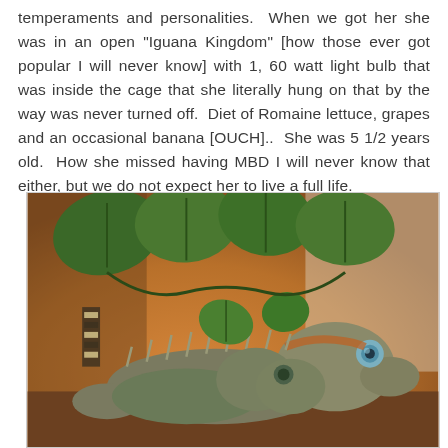temperaments and personalities.  When we got her she was in an open "Iguana Kingdom" [how those ever got popular I will never know] with 1, 60 watt light bulb that was inside the cage that she literally hung on that by the way was never turned off.  Diet of Romaine lettuce, grapes and an occasional banana [OUCH]..  She was 5 1/2 years old.  How she missed having MBD I will never know that either, but we do not expect her to live a full life.
[Figure (photo): A close-up photo of one or two iguanas resting beneath green heart-shaped leaves on a branch. The iguana(s) are brownish-gray with spiny dorsal ridges and an orange tinge near the neck. The background is warm/amber toned.]